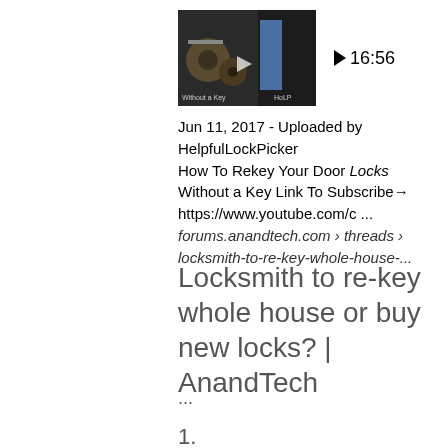[Figure (screenshot): Thumbnail image of a video about rekeying door locks, showing lock cylinders and tools]
16:56
Jun 11, 2017 - Uploaded by HelpfulLockPicker
How To Rekey Your Door Locks Without a Key Link To Subscribe→ https://www.youtube.com/c ...
forums.anandtech.com › threads › locksmith-to-re-key-whole-house-...
Locksmith to re-key whole house or buy new locks? | AnandTech
...
1.